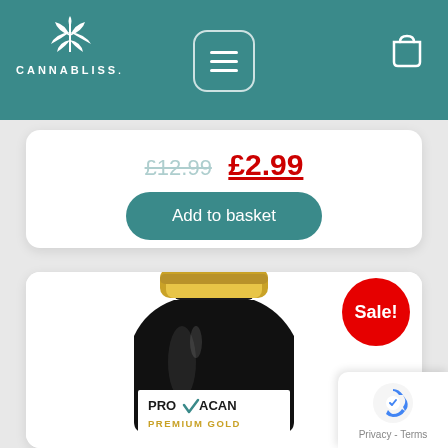[Figure (logo): Cannabliss logo with cannabis leaf icon and text CANNABLISS. on teal header bar]
£12.99 £2.99
Add to basket
[Figure (photo): Product photo of Provacan Premium Gold supplement bottle with black container and gold lid, sale badge in top right corner]
Sale!
PROVACAN PREMIUM GOLD